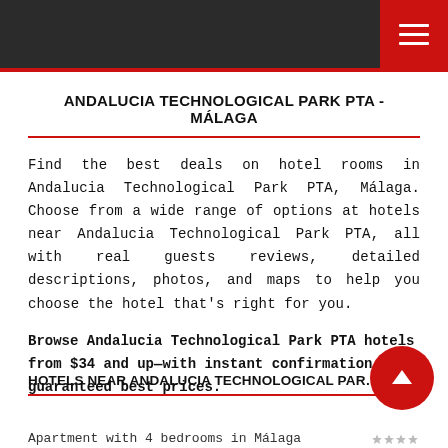Navigation bar with hamburger menu
ANDALUCIA TECHNOLOGICAL PARK PTA - MÁLAGA
Find the best deals on hotel rooms in Andalucia Technological Park PTA, Málaga. Choose from a wide range of options at hotels near Andalucia Technological Park PTA, all with real guests reviews, detailed descriptions, photos, and maps to help you choose the hotel that's right for you.
Browse Andalucia Technological Park PTA hotels from $34 and up—with instant confirmation and guaranteed best prices.
HOTELS NEAR ANDALUCIA TECHNOLOGICAL PARK PTA
Apartment with 4 bedrooms in Málaga